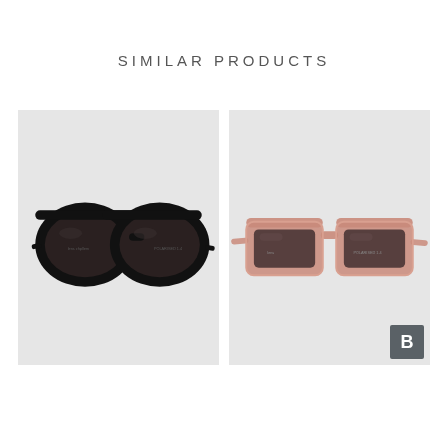SIMILAR PRODUCTS
[Figure (photo): Black round-frame sunglasses on light gray background]
[Figure (photo): Pink/rose transparent rectangular-frame sunglasses on light gray background]